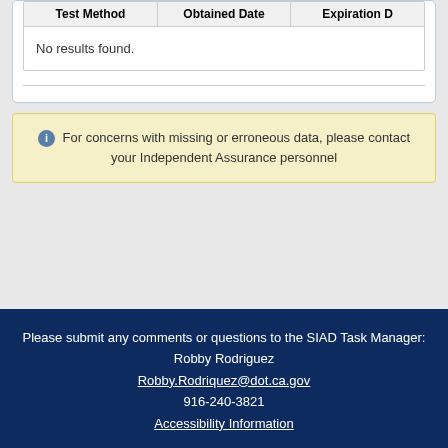| Test Method | Obtained Date | Expiration D… |
| --- | --- | --- |
| No results found. |  |  |
For concerns with missing or erroneous data, please contact your Independent Assurance personnel
Please submit any comments or questions to the SIAD Task Manager:
Robby Rodriguez
Robby.Rodriquez@dot.ca.gov
916-240-3821
Accessibility Information